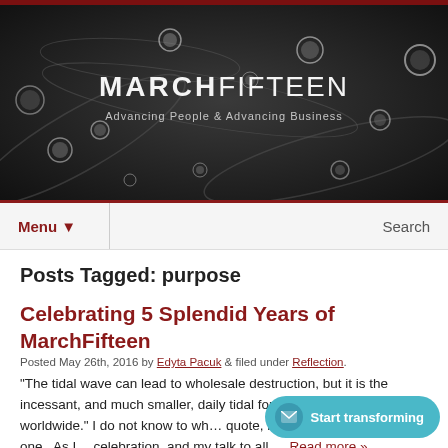[Figure (photo): Black and white header banner photo showing water droplets on leaves, with site logo MARCHFIFTEEN and tagline 'Advancing People & Advancing Business']
MARCHFIFTEEN — Advancing People & Advancing Business
Menu ▼  Search
Posts Tagged: purpose
Celebrating 5 Splendid Years of MarchFifteen
Posted May 26th, 2016 by Edyta Pacuk & filed under Reflection.
"The tidal wave can lead to wholesale destruction, but it is the incessant, and much smaller, daily tidal force that moves all boats worldwide." I do not know to wh… quote, but I think it is a good one.  As I… celebration, and my talk to all…  Read more »